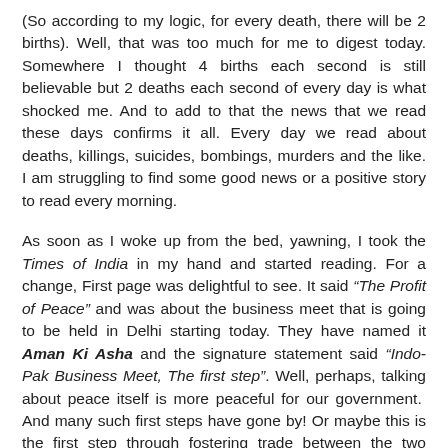(So according to my logic, for every death, there will be 2 births). Well, that was too much for me to digest today. Somewhere I thought 4 births each second is still believable but 2 deaths each second of every day is what shocked me. And to add to that the news that we read these days confirms it all. Every day we read about deaths, killings, suicides, bombings, murders and the like. I am struggling to find some good news or a positive story to read every morning.
As soon as I woke up from the bed, yawning, I took the Times of India in my hand and started reading. For a change, First page was delightful to see. It said “The Profit of Peace” and was about the business meet that is going to be held in Delhi starting today. They have named it Aman Ki Asha and the signature statement said “Indo-Pak Business Meet, The first step”. Well, perhaps, talking about peace itself is more peaceful for our government.  And many such first steps have gone by! Or maybe this is the first step through fostering trade between the two nations.  I did not get too excited about it except for few interesting statements from business people about making it possible.